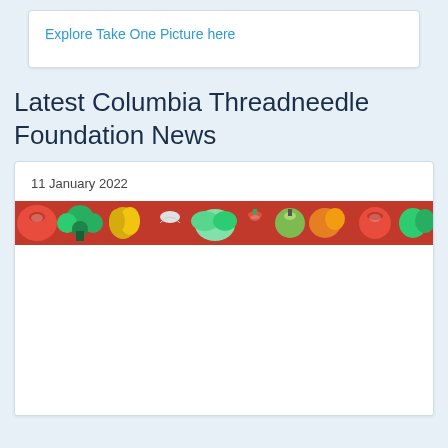Explore Take One Picture here
Latest Columbia Threadneedle Foundation News
11 January 2022
[Figure (photo): Banner image of assorted colorful vegetables including broccoli, tomatoes, peppers, onions, lettuce, apples arranged together]